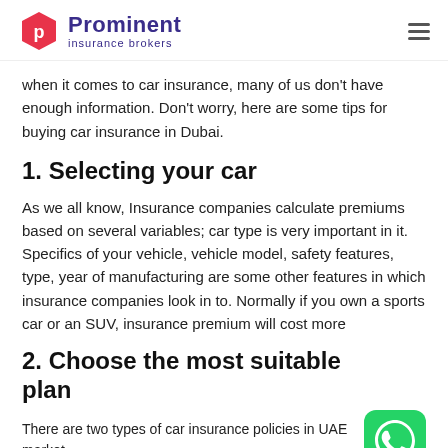Prominent insurance brokers
when it comes to car insurance, many of us don't have enough information. Don't worry, here are some tips for buying car insurance in Dubai.
1. Selecting your car
As we all know, Insurance companies calculate premiums based on several variables; car type is very important in it. Specifics of your vehicle, vehicle model, safety features, type, year of manufacturing are some other features in which insurance companies look in to. Normally if you own a sports car or an SUV, insurance premium will cost more
2. Choose the most suitable plan
There are two types of car insurance policies in UAE market